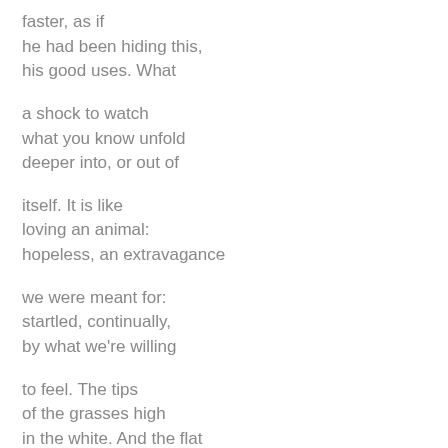faster, as if
he had been hiding this,
his good uses. What
a shock to watch
what you know unfold
deeper into, or out of
itself. It is like
loving an animal:
hopeless, an extravagance
we were meant for:
startled, continually,
by what we're willing
to feel. The tips
of the grasses high
in the white. And the flat
light, drops of water